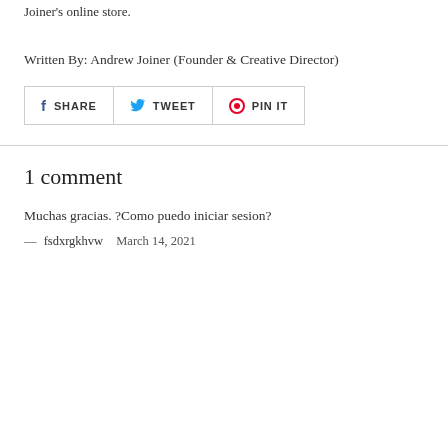Joiner's online store.
Written By: Andrew Joiner (Founder & Creative Director)
[Figure (other): Social sharing buttons: Share (Facebook), Tweet (Twitter), Pin It (Pinterest)]
1 comment
Muchas gracias. ?Como puedo iniciar sesion?
— fsdxrgkhvw    March 14, 2021